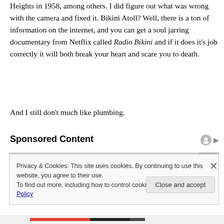Heights in 1958, among others. I did figure out what was wrong with the camera and fixed it. Bikini Atoll? Well, there is a ton of information on the internet, and you can get a soul jarring documentary from Netflix called Radio Bikini and if it does it's job correctly it will both break your heart and scare you to death.
And I still don't much like plumbing.
Sponsored Content
Privacy & Cookies: This site uses cookies. By continuing to use this website, you agree to their use.
To find out more, including how to control cookies, see here: Cookie Policy